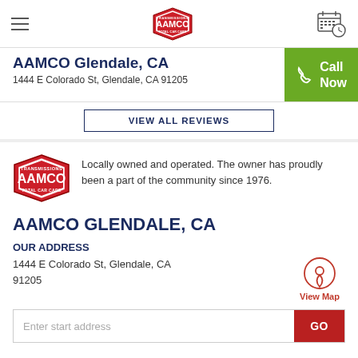AAMCO navigation bar with hamburger menu, AAMCO logo, and calendar/schedule icon
AAMCO Glendale, CA
1444 E Colorado St, Glendale, CA 91205
Call Now
VIEW ALL REVIEWS
[Figure (logo): AAMCO Transmissions Total Car Care logo — red hexagonal shield shape with white AAMCO text]
Locally owned and operated. The owner has proudly been a part of the community since 1976.
AAMCO GLENDALE, CA
OUR ADDRESS
1444 E Colorado St, Glendale, CA 91205
View Map
Enter start address